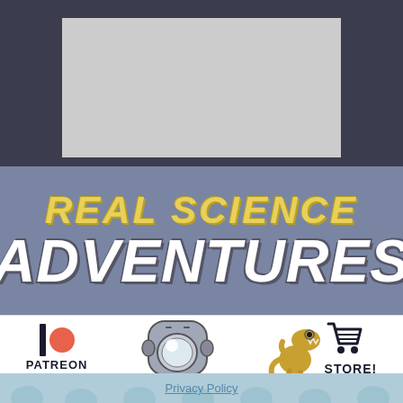[Figure (illustration): Gray placeholder rectangle on dark navy background representing a comic panel or image area]
REAL SCIENCE ADVENTURES
[Figure (infographic): White banner with Patreon logo (bar and orange circle), a robot head illustration, a dinosaur illustration, shopping cart icon, and STORE! text]
Privacy Policy